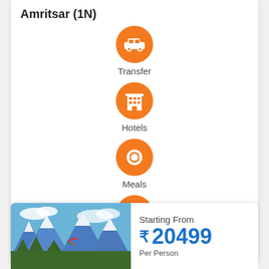Amritsar (1N)
[Figure (infographic): Orange circle icon with white car/transfer symbol]
Transfer
[Figure (infographic): Orange circle icon with white hotel building symbol]
Hotels
[Figure (infographic): Orange circle icon with white plate/fork/knife symbol]
Meals
[Figure (infographic): Orange circle icon with white sightseeing/beach umbrella person symbol]
Sightseeing
[Figure (photo): Snow-capped mountains with blue sky and colorful paraglider]
Starting From
₹ 20499
Per Person